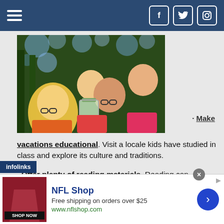Navigation header with hamburger menu and social icons (Facebook, Twitter, Instagram)
[Figure (photo): Four children looking excitedly at a glass jar containing a frog or insect, outdoors in a forested area]
· Make
vacations educational. Visit a locale kids have studied in class and explore its culture and traditions.
· Offer plenty of reading materials. Reading can expand children's minds and help them build and maintain their